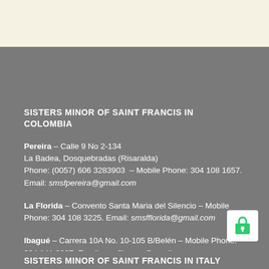SISTERS MINOR OF SAINT FRANCIS IN COLOMBIA
Pereira – Calle 9 No 2-134
La Badea, Dosquebradas (Risaralda)
Phone: (0057) 606 3283903 – Mobile Phone: 304 108 1657.
Email: smsfpereira@gmail.com
La Florida – Convento Santa Maria del Silencio – Mobile Phone: 304 108 3225. Email: smsfflorida@gmail.com
Ibagué – Carrera 10A No. 10-105 B/Belén – Mobile Phone: 304 141 2227. Email: smsfibague@gmail.com
SISTERS MINOR OF SAINT FRANCIS IN ITALY